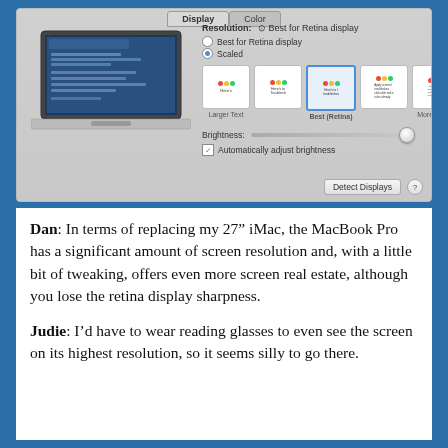[Figure (screenshot): macOS Display Preferences panel showing Resolution options (Best for Retina display / Scaled), scaled resolution thumbnails with Best (Retina) selected, Brightness slider with Automatically adjust brightness checkbox, and a Detect Displays button.]
Dan: In terms of replacing my 27" iMac, the MacBook Pro has a significant amount of screen resolution and, with a little bit of tweaking, offers even more screen real estate, although you lose the retina display sharpness.
Judie: I'd have to wear reading glasses to even see the screen on its highest resolution, so it seems silly to go there.